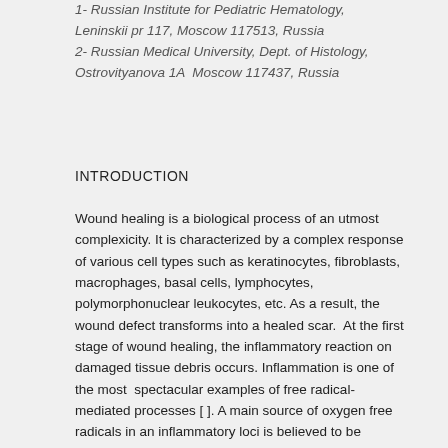1- Russian Institute for Pediatric Hematology, Leninskii pr 117, Moscow 117513, Russia
2- Russian Medical University, Dept. of Histology, Ostrovityanova 1A  Moscow 117437, Russia
INTRODUCTION
Wound healing is a biological process of an utmost complexicity. It is characterized by a complex response of various cell types such as keratinocytes, fibroblasts, macrophages, basal cells, lymphocytes, polymorphonuclear leukocytes, etc. As a result, the wound defect transforms into a healed scar.  At the first stage of wound healing, the inflammatory reaction on damaged tissue debris occurs. Inflammation is one of the most  spectacular examples of free radical-mediated processes [ ]. A main source of oxygen free radicals in an inflammatory loci is believed to be phagocytozing cells attracting by necrotic products &. These very